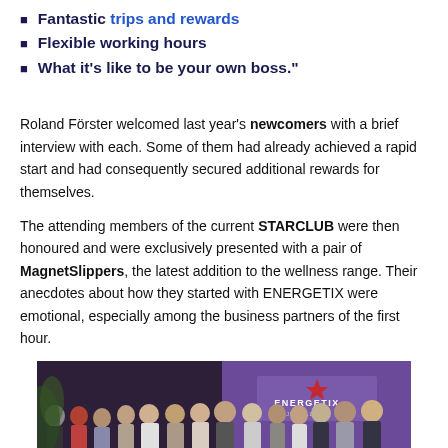Fantastic trips and rewards
Flexible working hours
What it's like to be your own boss."
Roland Förster welcomed last year's newcomers with a brief interview with each. Some of them had already achieved a rapid start and had consequently secured additional rewards for themselves.
The attending members of the current STARCLUB were then honoured and were exclusively presented with a pair of MagnetSlippers, the latest addition to the wellness range. Their anecdotes about how they started with ENERGETIX were emotional, especially among the business partners of the first hour.
[Figure (photo): Group photo of approximately 14 people standing together in front of an ENERGETIX branded banner/backdrop in a dark venue]